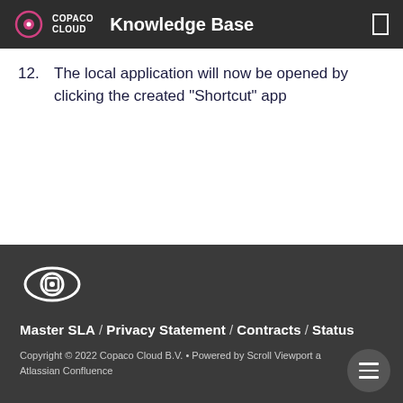Knowledge Base
12. The local application will now be opened by clicking the created “Shortcut” app
[Figure (logo): Copaco Cloud eye/camera logo icon in white on dark background]
Master SLA / Privacy Statement / Contracts / Status
Copyright © 2022 Copaco Cloud B.V. • Powered by Scroll Viewport a Atlassian Confluence